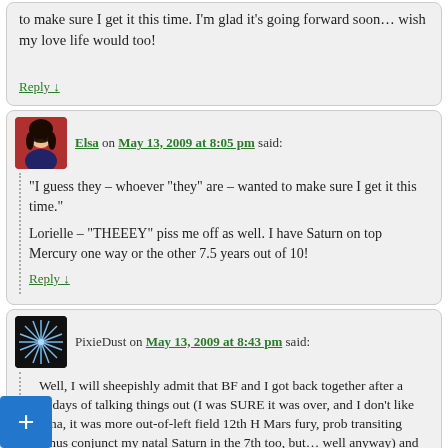to make sure I get it this time. I'm glad it's going forward soon… wish my love life would too!
Reply ↓
Elsa on May 13, 2009 at 8:05 pm said:
“I guess they – whoever “they” are – wanted to make sure I get it this time.”

Lorielle – “THEEEY” piss me off as well. I have Saturn on top Mercury one way or the other 7.5 years out of 10!
Reply ↓
PixieDust on May 13, 2009 at 8:43 pm said:
Well, I will sheepishly admit that BF and I got back together after a few days of talking things out (I was SURE it was over, and I don’t like drama, it was more out-of-left field 12th H Mars fury, prob transiting Uranus conjunct my natal Saturn in the 7th too, but… well anyway) and I think it just is enormously helpful to admit who you are and what you need.
have Pisces Saturn in the 7th ( and Venus Libra) and I assure you that I am not going to take anyone seriously if he doesn’t want to